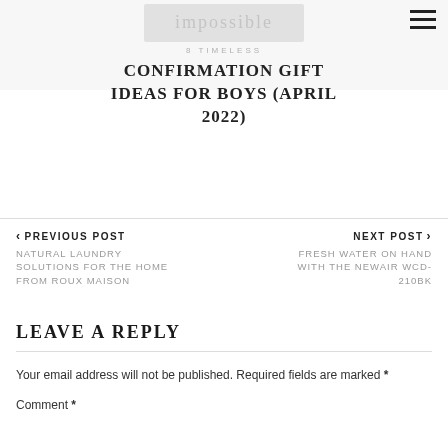8 TIMELESS
CONFIRMATION GIFT IDEAS FOR BOYS (APRIL 2022)
< PREVIOUS POST
NATURAL LAUNDRY SOLUTIONS FOR THE HOME FROM ROUX MAISON
NEXT POST >
FRESH WATER ON HAND WITH THE NEWAIR WCD-210BK
LEAVE A REPLY
Your email address will not be published. Required fields are marked *
Comment *